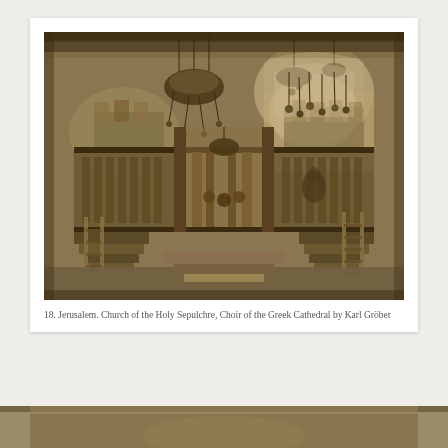[Figure (photo): A sepia photograph of the interior of the Church of the Holy Sepulchre, showing the Choir of the Greek Cathedral. The image depicts ornate iconostasis with chandeliers, arched architecture, steps, and columns in a richly decorated Orthodox Christian church setting.]
18. Jerusalem. Church of the Holy Sepulchre, Choir of the Greek Cathedral by Karl Gröber